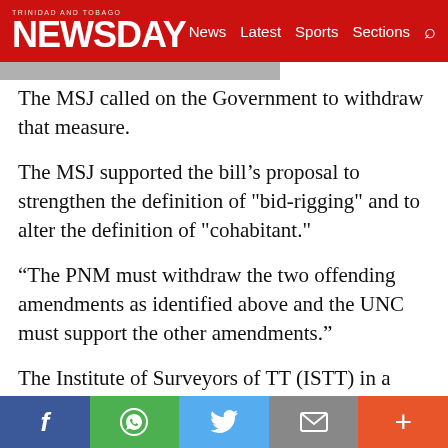TRINIDAD AND TOBAGO NEWSDAY — News Latest Sports Sections
The MSJ called on the Government to withdraw that measure.
The MSJ supported the bill's proposal to strengthen the definition of "bid-rigging" and to alter the definition of "cohabitant."
“The PNM must withdraw the two offending amendments as identified above and the UNC must support the other amendments.”
The Institute of Surveyors of TT (ISTT) in a statement on Wednesday also expressed
f  [WhatsApp]  [Twitter]  [Mail]  +